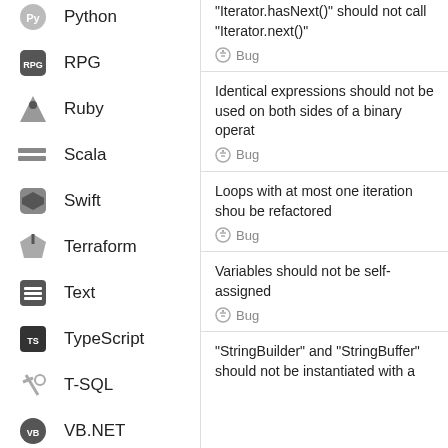RPG
Ruby
Scala
Swift
Terraform
Text
TypeScript
T-SQL
VB.NET
VB6
XML
"Iterator.hasNext()" should not call "Iterator.next()"
Bug
Identical expressions should not be used on both sides of a binary operat
Bug
Loops with at most one iteration shou be refactored
Bug
Variables should not be self-assigned
Bug
"StringBuilder" and "StringBuffer" should not be instantiated with a